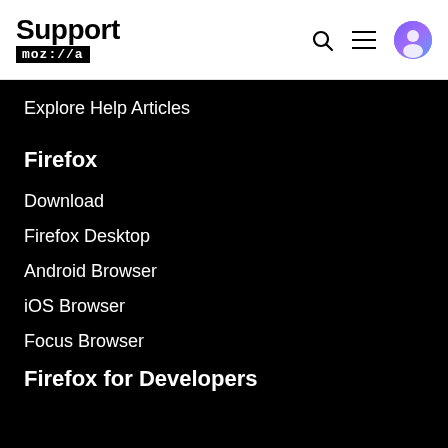Support mozilla// [search] [menu] [avatar]
Explore Help Articles
Firefox
Download
Firefox Desktop
Android Browser
iOS Browser
Focus Browser
Firefox for Developers